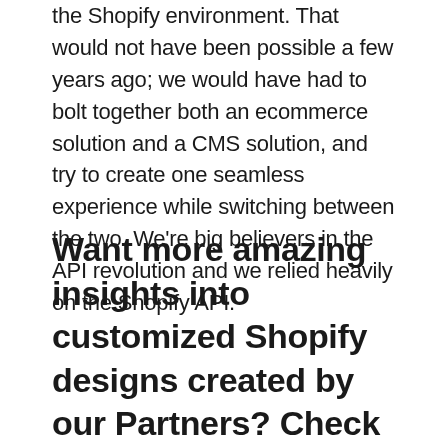the Shopify environment. That would not have been possible a few years ago; we would have had to bolt together both an ecommerce solution and a CMS solution, and try to create one seamless experience while switching between the two. We're big believers in the API revolution and we relied heavily on the Shopify API.
Want more amazing insights into customized Shopify designs created by our Partners? Check out our complete Case Study collection.